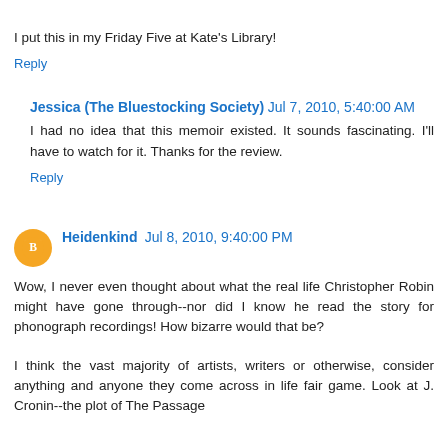I put this in my Friday Five at Kate's Library!
Reply
Jessica (The Bluestocking Society)  Jul 7, 2010, 5:40:00 AM
I had no idea that this memoir existed. It sounds fascinating. I'll have to watch for it. Thanks for the review.
Reply
Heidenkind  Jul 8, 2010, 9:40:00 PM
Wow, I never even thought about what the real life Christopher Robin might have gone through--nor did I know he read the story for phonograph recordings! How bizarre would that be?
I think the vast majority of artists, writers or otherwise, consider anything and anyone they come across in life fair game. Look at J. Cronin--the plot of The Passage apparently came from his daughter's imagination or his...